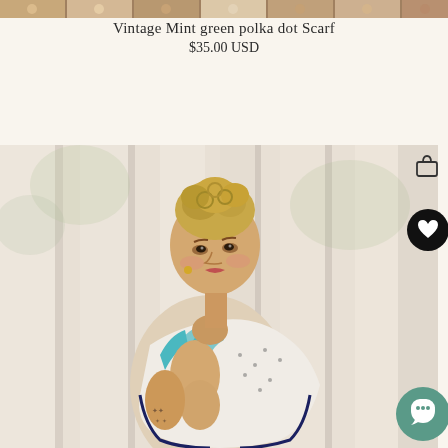[Figure (photo): Horizontal thumbnail strip of product images at the top of the page]
Vintage Mint green polka dot Scarf
$35.00 USD
[Figure (photo): Fashion photo of a woman with curly blonde hair pulled up, wearing a vintage mint green polka dot scarf with teal stripes, posing in front of sheer white curtains. She has a tattoo on her upper arm and is looking over her shoulder at the camera.]